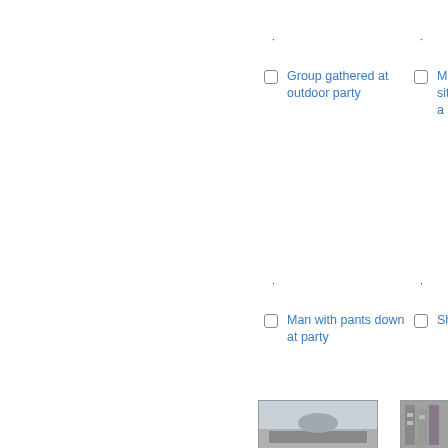Group gathered at outdoor party
Men sitting at a party
Man with pants down at party
Sho...
[Figure (photo): Black and white photo of outdoor scene with sky and structures]
[Figure (photo): Black and white photo of a building]